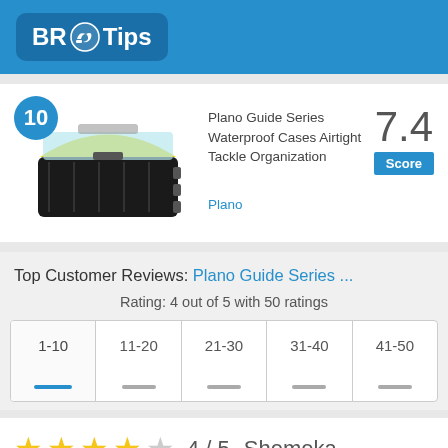BR Tips
[Figure (photo): Plano Guide Series Waterproof tackle box, yellow and black, open lid showing interior]
Plano Guide Series Waterproof Cases Airtight Tackle Organization
7.4 Score
Plano
Top Customer Reviews: Plano Guide Series ...
Rating: 4 out of 5 with 50 ratings
| 1-10 | 11-20 | 21-30 | 31-40 | 41-50 |
| --- | --- | --- | --- | --- |
| — | — | — | — | — |
★★★★☆  4 / 5   Shemeka